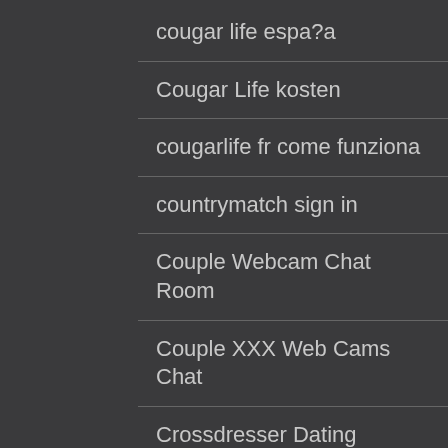cougar life espa?a
Cougar Life kosten
cougarlife fr come funziona
countrymatch sign in
Couple Webcam Chat Room
Couple XXX Web Cams Chat
Crossdresser Dating service
Crossdresser